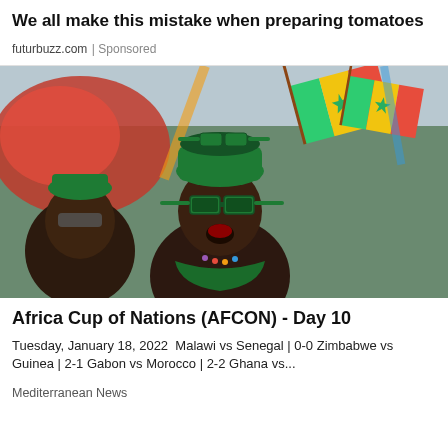We all make this mistake when preparing tomatoes
futurbuzz.com | Sponsored
[Figure (photo): African football fans cheering, wearing green hats and novelty glasses, waving Senegal flags (green, yellow, red with green star) and other colorful flags in the background]
Africa Cup of Nations (AFCON) - Day 10
Tuesday, January 18, 2022  Malawi vs Senegal | 0-0 Zimbabwe vs Guinea | 2-1 Gabon vs Morocco | 2-2 Ghana vs...
Mediterranean News